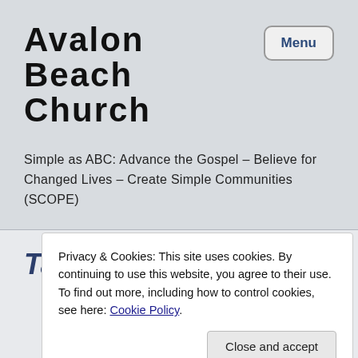Avalon Beach Church
Simple as ABC: Advance the Gospel – Believe for Changed Lives – Create Simple Communities (SCOPE)
Tag: avalon
Privacy & Cookies: This site uses cookies. By continuing to use this website, you agree to their use.
To find out more, including how to control cookies, see here: Cookie Policy